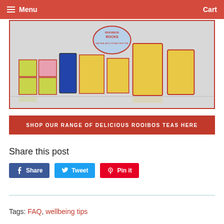Menu   Cart
[Figure (photo): Rooibos Rocks brand tea products - various colorful boxes, tins and pouches arranged in a row on a white surface, with the Rooibos Rocks logo visible at the top center]
SHOP OUR RANGE OF DELICIOUS ROOIBOS TEAS HERE
Share this post
Share
Tweet
Pin it
Tags: FAQ, wellbeing tips